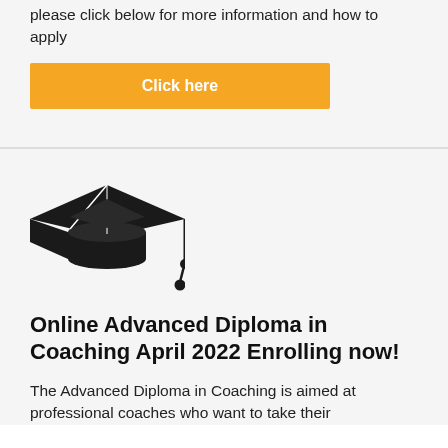please click below for more information and how to apply
Click here
[Figure (illustration): Graduation cap icon (mortarboard) in black]
Online Advanced Diploma in Coaching April 2022 Enrolling now!
The Advanced Diploma in Coaching is aimed at professional coaches who want to take their